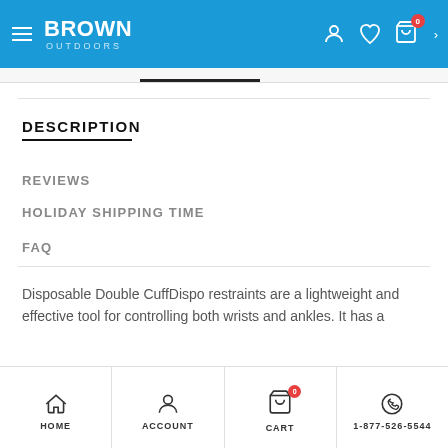BROWN OUTDOORS
DESCRIPTION
REVIEWS
HOLIDAY SHIPPING TIME
FAQ
Disposable Double CuffDispo restraints are a lightweight and effective tool for controlling both wrists and ankles. It has a
HOME   ACCOUNT   CART   1-877-526-5544